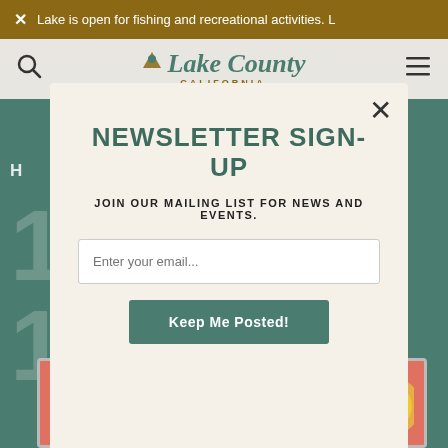Lake is open for fishing and recreational activities. L…
[Figure (logo): Lake County California logo with mountain and location pin icon]
NEWSLETTER SIGN-UP
JOIN OUR MAILING LIST FOR NEWS AND EVENTS.
Enter your email...
Keep Me Posted!
[Figure (infographic): Museums of Lake County THRILLING THURSDAYS promotional card with sun graphic]